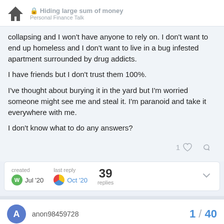Hiding large sum of money
collapsing and I won't have anyone to rely on. I don't want to end up homeless and I don't want to live in a bug infested apartment surrounded by drug addicts.
I have friends but I don't trust them 100%.
I've thought about burying it in the yard but I'm worried someone might see me and steal it. I'm paranoid and take it everywhere with me.
I don't know what to do any answers?
created Jul '20  last reply Oct '20  39 replies
anon98459728  1 / 40